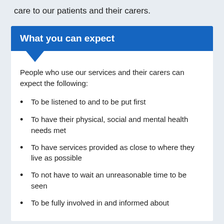care to our patients and their carers.
What you can expect
People who use our services and their carers can expect the following:
To be listened to and to be put first
To have their physical, social and mental health needs met
To have services provided as close to where they live as possible
To not have to wait an unreasonable time to be seen
To be fully involved in and informed about